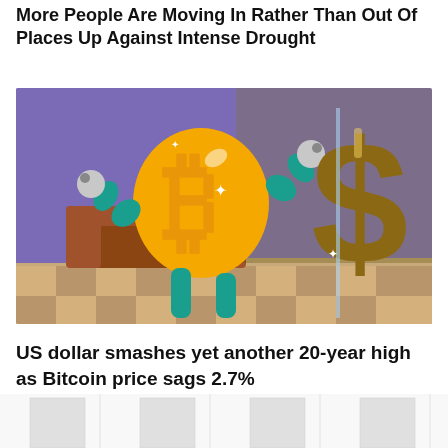More People Are Moving In Rather Than Out Of Places Up Against Intense Drought
[Figure (illustration): Cartoon illustration showing an anthropomorphic Bitcoin symbol (gold B with two vertical bars) with teal-colored arms wrestling or fighting against a large brown US dollar sign symbol, set in an indoor room background with purple wall, brown furniture, and checkered floor.]
US dollar smashes yet another 20-year high as Bitcoin price sags 2.7%
[Figure (bar-chart): Partial bar chart visible at the bottom of the page, showing vertical bars in light gray/white tones against a white background, axes not fully visible.]